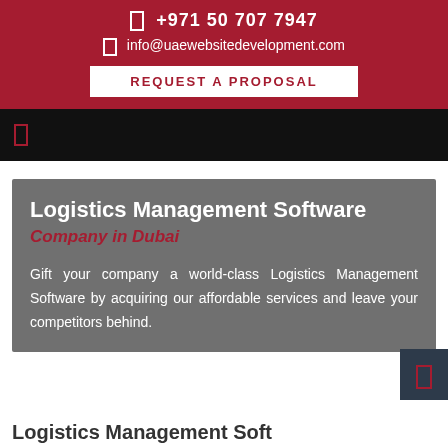+971 50 707 7947
info@uaewebsitedevelopment.com
REQUEST A PROPOSAL
Logistics Management Software Company in Dubai
Gift your company a world-class Logistics Management Software by acquiring our affordable services and leave your competitors behind.